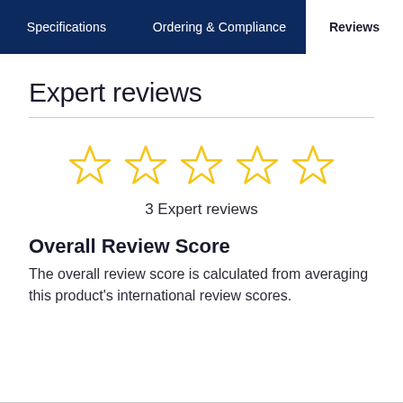Specifications | Ordering & Compliance | Reviews
Expert reviews
[Figure (other): Five empty star rating icons in gold/yellow outline]
3 Expert reviews
Overall Review Score
The overall review score is calculated from averaging this product's international review scores.